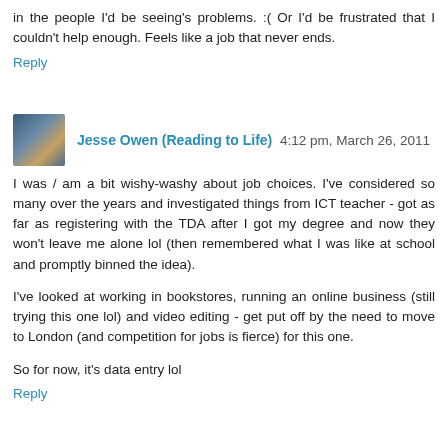in the people I'd be seeing's problems. :( Or I'd be frustrated that I couldn't help enough. Feels like a job that never ends.
Reply
Jesse Owen (Reading to Life) 4:12 pm, March 26, 2011
I was / am a bit wishy-washy about job choices. I've considered so many over the years and investigated things from ICT teacher - got as far as registering with the TDA after I got my degree and now they won't leave me alone lol (then remembered what I was like at school and promptly binned the idea).
I've looked at working in bookstores, running an online business (still trying this one lol) and video editing - get put off by the need to move to London (and competition for jobs is fierce) for this one.
So for now, it's data entry lol
Reply